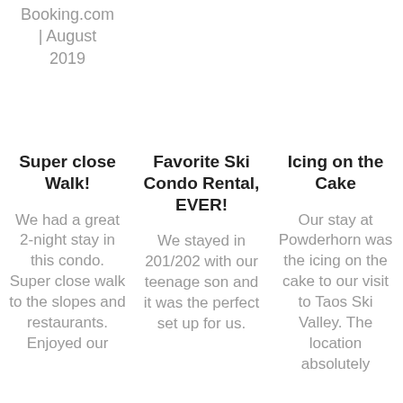Booking.com | August 2019
Super close Walk!
We had a great 2-night stay in this condo. Super close walk to the slopes and restaurants. Enjoyed our
Favorite Ski Condo Rental, EVER!
We stayed in 201/202 with our teenage son and it was the perfect set up for us.
Icing on the Cake
Our stay at Powderhorn was the icing on the cake to our visit to Taos Ski Valley. The location absolutely